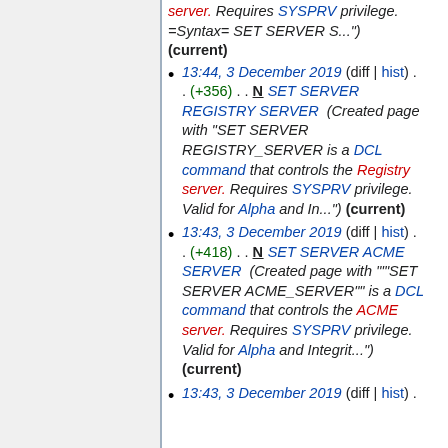server. Requires SYSPRV privilege. =Syntax= SET SERVER S...) (current)
13:44, 3 December 2019 (diff | hist) . . (+356) . . N SET SERVER REGISTRY SERVER (Created page with "SET SERVER REGISTRY_SERVER is a DCL command that controls the Registry server. Requires SYSPRV privilege. Valid for Alpha and In...") (current)
13:43, 3 December 2019 (diff | hist) . . (+418) . . N SET SERVER ACME SERVER (Created page with """SET SERVER ACME_SERVER"" is a DCL command that controls the ACME server. Requires SYSPRV privilege. Valid for Alpha and Integrit...") (current)
13:43, 3 December 2019 (diff | hist) .